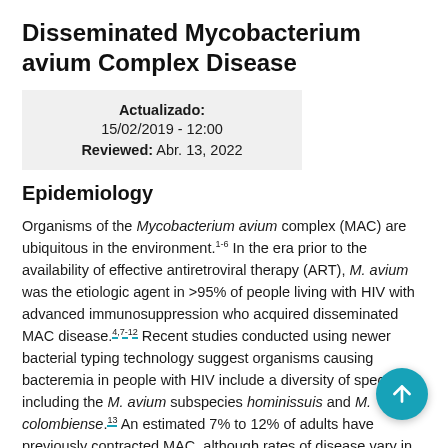Disseminated Mycobacterium avium Complex Disease
Actualizado: 15/02/2019 - 12:00
Reviewed: Abr. 13, 2022
Epidemiology
Organisms of the Mycobacterium avium complex (MAC) are ubiquitous in the environment.1-6 In the era prior to the availability of effective antiretroviral therapy (ART), M. avium was the etiologic agent in >95% of people living with HIV with advanced immunosuppression who acquired disseminated MAC disease.4,7-12 Recent studies conducted using newer bacterial typing technology suggest organisms causing bacteremia in people with HIV include a diversity of species, including the M. avium subspecies hominissuis and M. colombiense.13 An estimated 7% to 12% of adults have previously contracted MAC, although rates of disease vary in different geographic locations.2,4,8,11,12 Although epidemiologic associations have been identified, no environmental exposure or behavioral characteristics established that are risk factors for